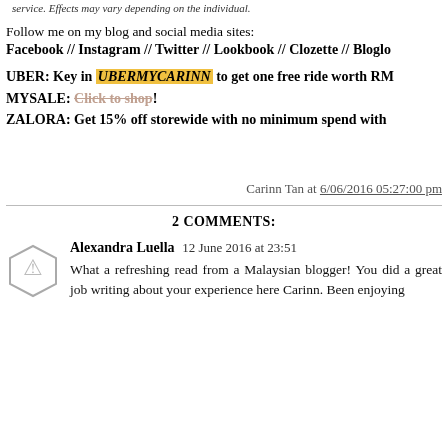service. Effects may vary depending on the individual.
Follow me on my blog and social media sites:
Facebook // Instagram // Twitter // Lookbook // Clozette // Bloglo
UBER: Key in UBERMYCARINN to get one free ride worth RM
MYSALE: Click to shop!
ZALORA: Get 15% off storewide with no minimum spend with
Carinn Tan at 6/06/2016 05:27:00 pm
2 COMMENTS:
Alexandra Luella 12 June 2016 at 23:51
What a refreshing read from a Malaysian blogger! You did a great job writing about your experience here Carinn. Been enjoying